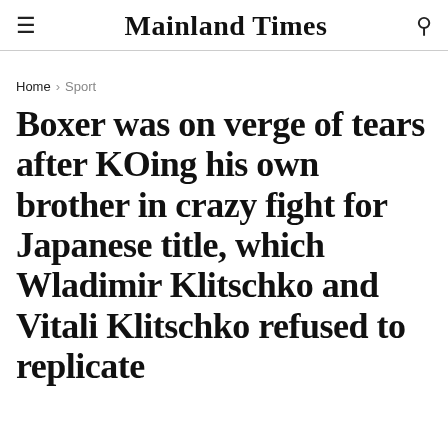Mainland Times
Home > Sport
Boxer was on verge of tears after KOing his own brother in crazy fight for Japanese title, which Wladimir Klitschko and Vitali Klitschko refused to replicate